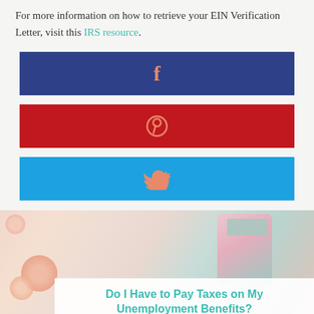For more information on how to retrieve your EIN Verification Letter, visit this IRS resource.
[Figure (other): Facebook share button bar — dark blue background with salmon/orange Facebook 'f' icon centered]
[Figure (other): Pinterest share button bar — red background with salmon/orange Pinterest circle-P icon centered]
[Figure (other): Twitter share button bar — sky blue background with salmon/orange Twitter bird icon centered]
[Figure (photo): Photo of a pink calculator and peach flowers on a light background, with a white card overlay showing the title 'Do I Have to Pay Taxes on My Unemployment Benefits?']
Do I Have to Pay Taxes on My Unemployment Benefits?